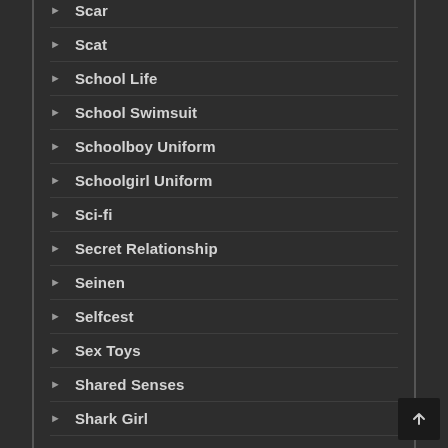Scar
Scat
School Life
School Swimsuit
Schoolboy Uniform
Schoolgirl Uniform
Sci-fi
Secret Relationship
Seinen
Selfcest
Sex Toys
Shared Senses
Shark Girl